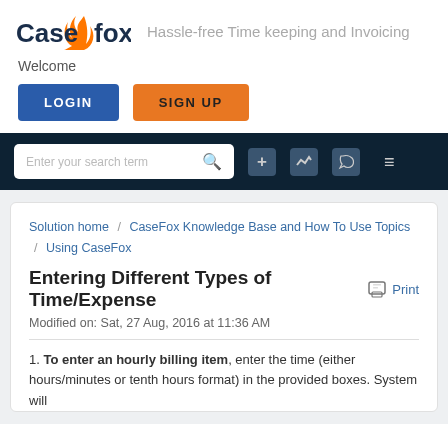[Figure (logo): CaseFox logo with orange flame and tagline 'Hassle-free Time keeping and Invoicing']
Welcome
[Figure (screenshot): LOGIN button (blue) and SIGN UP button (orange)]
[Figure (screenshot): Navigation bar with search box 'Enter your search term' and icons for plus, activity, phone, and hamburger menu]
Solution home / CaseFox Knowledge Base and How To Use Topics / Using CaseFox
Entering Different Types of Time/Expense
Modified on: Sat, 27 Aug, 2016 at 11:36 AM
1. To enter an hourly billing item, enter the time (either hours/minutes or tenth hours format) in the provided boxes. System will